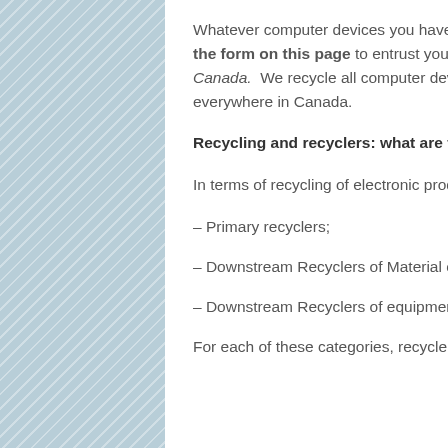Whatever computer devices you have and which you no longer use, do not hesitate to fill the form on this page to entrust your computers and equipment to Computer Recycling Canada.  We recycle all computer devices and offer to collect them for free pratically everywhere in Canada.
Recycling and recyclers: what are the standards to respect?
In terms of recycling of electronic products, there are three categories of recyclers:
– Primary recyclers;
– Downstream Recyclers of Material of Concern;
– Downstream Recyclers of equipment of no concern.
For each of these categories, recyclers are